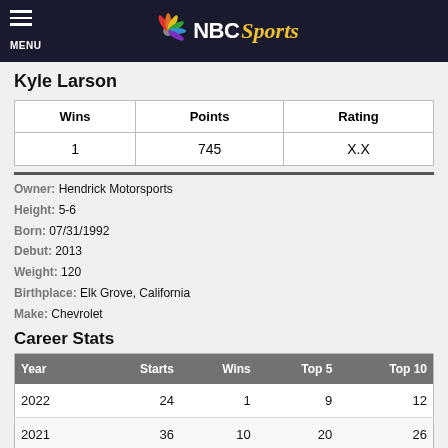NBC Sports
Kyle Larson
| Wins | Points | Rating |
| --- | --- | --- |
| 1 | 745 | X.X |
Owner: Hendrick Motorsports
Height: 5-6
Born: 07/31/1992
Debut: 2013
Weight: 120
Birthplace: Elk Grove, California
Make: Chevrolet
Career Stats
| Year | Starts | Wins | Top 5 | Top 10 |
| --- | --- | --- | --- | --- |
| 2022 | 24 | 1 | 9 | 12 |
| 2021 | 36 | 10 | 20 | 26 |
| 2020 | 4 | 0 | 1 | 3 |